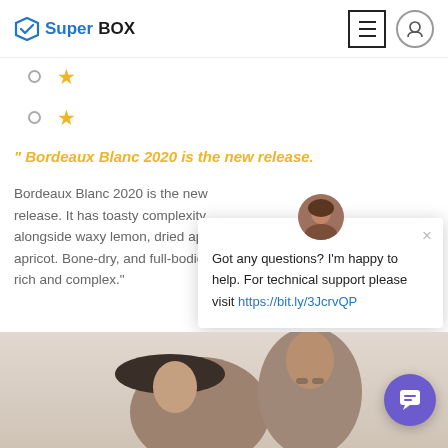SuperBOX
[Figure (screenshot): Two rating rows each showing a small open circle and a gold star]
" Bordeaux Blanc 2020 is the new release.
Bordeaux Blanc 2020 is the new release. It has toasty complexity alongside waxy lemon, dried apple and apricot. Bone-dry, and full-bodied ... rich and complex."
[Figure (screenshot): Chat popup widget with avatar of a woman, close X button, message: Got any questions? I'm happy to help. For technical support please visit https://bit.ly/3JcrvQP]
[Figure (photo): Bottom portion of page showing heads of two people - a woman in a dark hat and a man with glasses, partially visible]